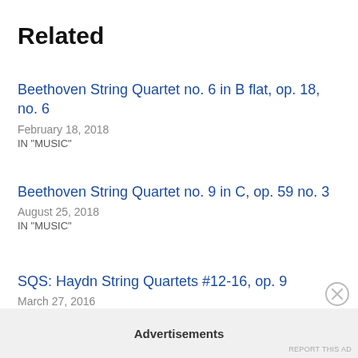Related
Beethoven String Quartet no. 6 in B flat, op. 18, no. 6
February 18, 2018
IN "MUSIC"
Beethoven String Quartet no. 9 in C, op. 59 no. 3
August 25, 2018
IN "MUSIC"
SQS: Haydn String Quartets #12-16, op. 9
March 27, 2016
IN "MUSIC"
Advertisements